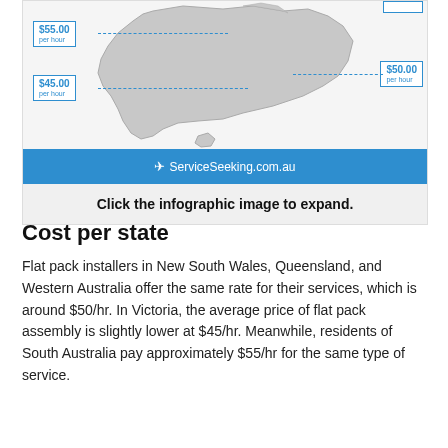[Figure (infographic): Map of Australia showing flat pack installer costs per state: $55.00/hr for South Australia, $45.00/hr for Victoria, $50.00/hr for New South Wales/Queensland/Western Australia, with dashed lines pointing to regions on a grey silhouette map.]
Click the infographic image to expand.
Cost per state
Flat pack installers in New South Wales, Queensland, and Western Australia offer the same rate for their services, which is around $50/hr. In Victoria, the average price of flat pack assembly is slightly lower at $45/hr. Meanwhile, residents of South Australia pay approximately $55/hr for the same type of service.